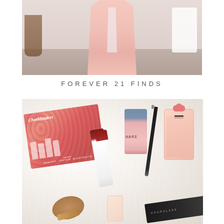[Figure (photo): Top photo showing a person wearing a light pink long coat/duster in a room setting]
FOREVER 21 FINDS
[Figure (photo): Flat lay photo on a white fluffy fur background showing beauty products: Benefit Cheekleaders palette, a lip gloss tube, NARS nail polish, an eye pencil, a floral perfume bottle, a bronzer compact, and a Hourglass product box]